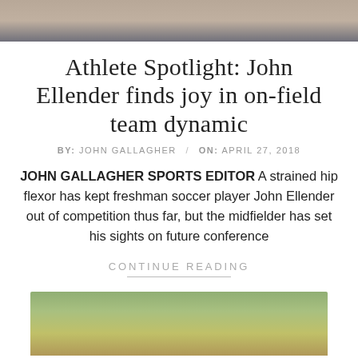[Figure (photo): Top partial photo of a person in a light-colored jacket, cropped at top of page]
Athlete Spotlight: John Ellender finds joy in on-field team dynamic
BY: JOHN GALLAGHER / ON: APRIL 27, 2018
JOHN GALLAGHER SPORTS EDITOR A strained hip flexor has kept freshman soccer player John Ellender out of competition thus far, but the midfielder has set his sights on future conference
CONTINUE READING
[Figure (photo): Bottom partial photo showing a person outdoors with greenery background, cropped at bottom of page]